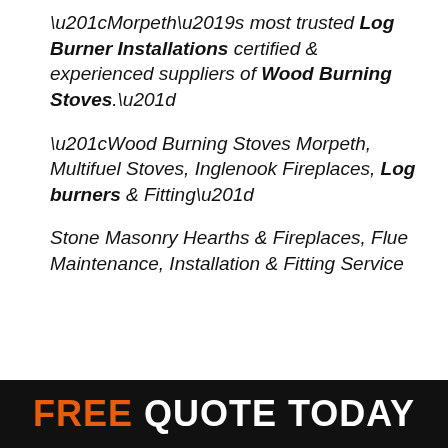“Morpeth’s most trusted Log Burner Installations certified & experienced suppliers of Wood Burning Stoves.”
“Wood Burning Stoves Morpeth, Multifuel Stoves, Inglenook Fireplaces, Log burners & Fitting”
Stone Masonry Hearths & Fireplaces, Flue Maintenance, Installation & Fitting Service
FREE QUOTE TODAY